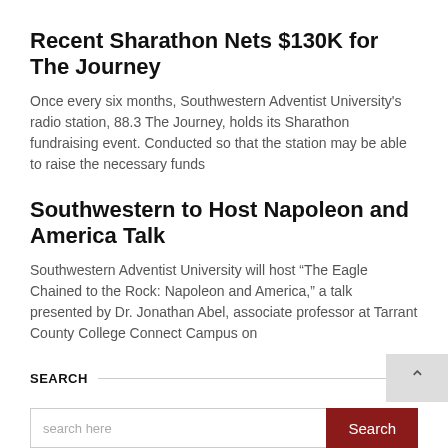Recent Sharathon Nets $130K for The Journey
Once every six months, Southwestern Adventist University's radio station, 88.3 The Journey, holds its Sharathon fundraising event. Conducted so that the station may be able to raise the necessary funds
Southwestern to Host Napoleon and America Talk
Southwestern Adventist University will host “The Eagle Chained to the Rock: Napoleon and America,” a talk presented by Dr. Jonathan Abel, associate professor at Tarrant County College Connect Campus on
SEARCH
search here